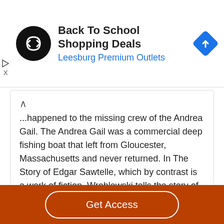[Figure (screenshot): Ad banner for Back To School Shopping Deals at Leesburg Premium Outlets with circular black logo and blue navigation diamond icon]
...happened to the missing crew of the Andrea Gail. The Andrea Gail was a commercial deep fishing boat that left from Gloucester, Massachusetts and never returned. In The Story of Edgar Sawtelle, which by contrast is a work of fiction, Wroblewski tells the story of a mute boy who…
Read More
Decent Essays
Get Access